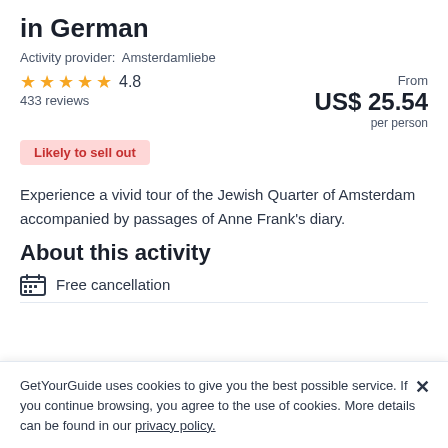in German
Activity provider:  Amsterdamliebe
★★★★★ 4.8  433 reviews  From  US$ 25.54  per person
Likely to sell out
Experience a vivid tour of the Jewish Quarter of Amsterdam accompanied by passages of Anne Frank's diary.
About this activity
Free cancellation
GetYourGuide uses cookies to give you the best possible service. If you continue browsing, you agree to the use of cookies. More details can be found in our privacy policy.